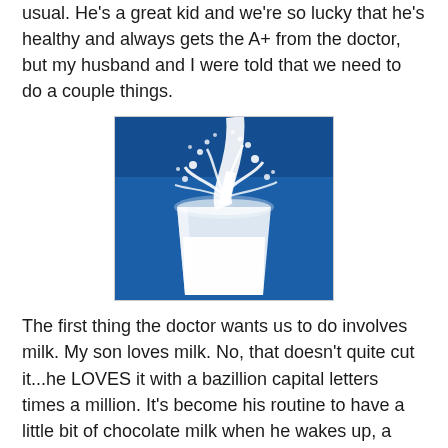usual. He's a great kid and we're so lucky that he's healthy and always gets the A+ from the doctor, but my husband and I were told that we need to do a couple things.
[Figure (photo): Photo of milk being poured into a glass, splashing dramatically against a bright blue background.]
The first thing the doctor wants us to do involves milk. My son loves milk. No, that doesn't quite cut it...he LOVES it with a bazillion capital letters times a million. It's become his routine to have a little bit of chocolate milk when he wakes up, a little plain milk around naptime, and little more plain milk after dinner. Because he's been so picky with eating, the doctor wants us to cut milk down to 1 cup per day. I realize now, after it's been five hours since his appointment, that the doctor probably thinks we're giving him more than we actually are, but I'm willing to comply if it means he'll eat better. A kid can only eat so much pizza, waffles and fruit